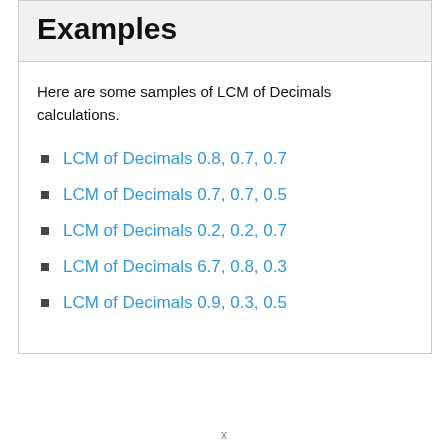Examples
Here are some samples of LCM of Decimals calculations.
LCM of Decimals 0.8, 0.7, 0.7
LCM of Decimals 0.7, 0.7, 0.5
LCM of Decimals 0.2, 0.2, 0.7
LCM of Decimals 6.7, 0.8, 0.3
LCM of Decimals 0.9, 0.3, 0.5